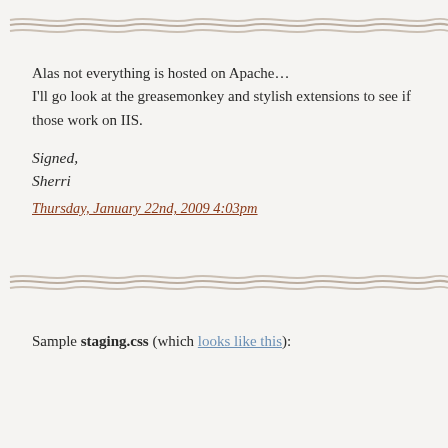[Figure (illustration): Decorative wavy horizontal divider line in gray/tan tones]
Alas not everything is hosted on Apache…
I'll go look at the greasemonkey and stylish extensions to see if those work on IIS.
Signed,
Sherri
Thursday, January 22nd, 2009 4:03pm
[Figure (illustration): Decorative wavy horizontal divider line in gray/tan tones]
Sample staging.css (which looks like this):